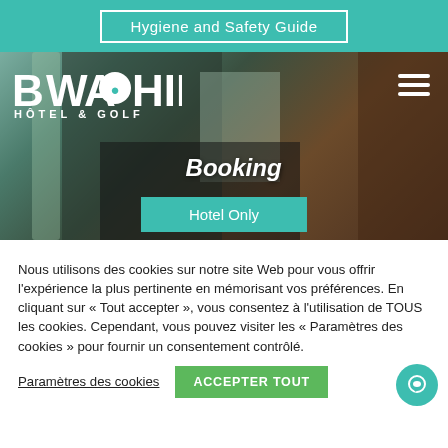Hygiene and Safety Guide
[Figure (screenshot): BWA CHIK Hôtel & Golf website screenshot showing hotel lobby photo with Booking section and Hotel Only button]
Nous utilisons des cookies sur notre site Web pour vous offrir l'expérience la plus pertinente en mémorisant vos préférences. En cliquant sur « Tout accepter », vous consentez à l'utilisation de TOUS les cookies. Cependant, vous pouvez visiter les « Paramètres des cookies » pour fournir un consentement contrôlé.
Paramètres des cookies
ACCEPTER TOUT